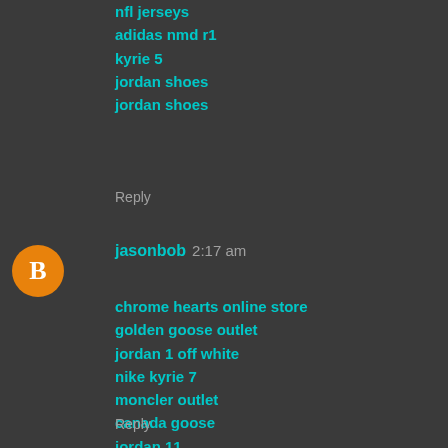nfl jerseys
adidas nmd r1
kyrie 5
jordan shoes
jordan shoes
Reply
jasonbob 2:17 am
chrome hearts online store
golden goose outlet
jordan 1 off white
nike kyrie 7
moncler outlet
canada goose
jordan 11
moncler coat
canada goose outlet
curry 8
Reply